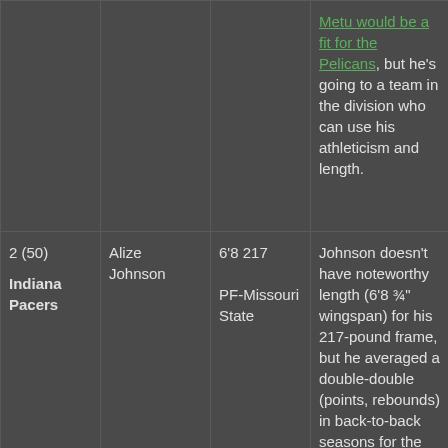| Pick | Player | Stats/School | Analysis |
| --- | --- | --- | --- |
|  |  |  | Metu would be a fit for the Pelicans, but he's going to a team in the division who can use his athleticism and length. |
| 2 (50)

Indiana Pacers | Alize Johnson | 6'8 217

PF-Missouri State | Johnson doesn't have noteworthy length (6'8 ¾" wingspan) for his 217-pound frame, but he averaged a double-double (points, rebounds) in back-to-back seasons for the Bears. |